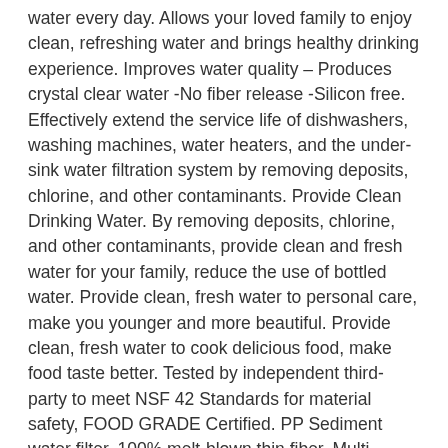water every day. Allows your loved family to enjoy clean, refreshing water and brings healthy drinking experience. Improves water quality – Produces crystal clear water -No fiber release -Silicon free. Effectively extend the service life of dishwashers, washing machines, water heaters, and the under-sink water filtration system by removing deposits, chlorine, and other contaminants. Provide Clean Drinking Water. By removing deposits, chlorine, and other contaminants, provide clean and fresh water for your family, reduce the use of bottled water. Provide clean, fresh water to personal care, make you younger and more beautiful. Provide clean, fresh water to cook delicious food, make food taste better. Tested by independent third-party to meet NSF 42 Standards for material safety, FOOD GRADE Certified. PP Sediment water filter. 100% melt-blown thin fiber, Multi-layered Pure Polypropylene. It's usually placed as the first stage of the water filtration system to Remove 99% rust, silt, sand, iron and other undissolved particles in dirty water. The GAC water filter. Granular Activated Carbon Filter. Made of multiple superfine fiber, polypropylene, non-toxic and tasteless efficient coconut shell activated carbon and coal activated carbon. Filters up to 15,000 gallons. Can effectively play the role of. Removing the chloride, odor and taste, remove dust, sand, sediments odor, residual chlorine, and organic pollutants.